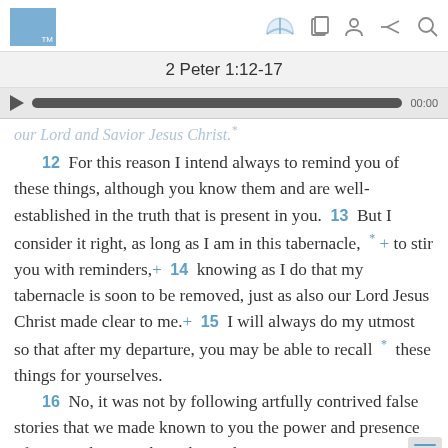2 Peter 1:12-17
our Lord and Savior Jesus Christ.*
12 For this reason I intend always to remind you of these things, although you know them and are well-established in the truth that is present in you. 13 But I consider it right, as long as I am in this tabernacle, * + to stir you with reminders,+ 14 knowing as I do that my tabernacle is soon to be removed, just as also our Lord Jesus Christ made clear to me.+ 15 I will always do my utmost so that after my departure, you may be able to recall * these things for yourselves. 16 No, it was not by following artfully contrived false stories that we made known to you the power and presence of our Lord Jesus Christ, but rather,